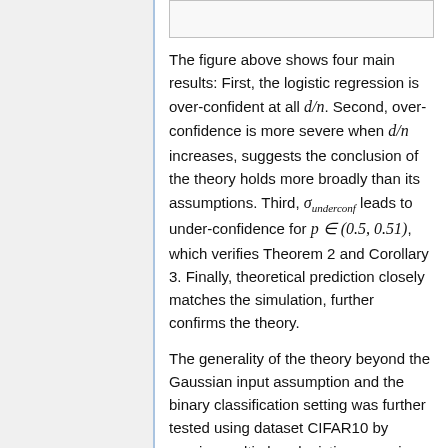[Figure (other): Top portion of a figure (cropped at top of page), showing a partial chart border.]
The figure above shows four main results: First, the logistic regression is over-confident at all d/n. Second, over-confidence is more severe when d/n increases, suggests the conclusion of the theory holds more broadly than its assumptions. Third, σ_underconf leads to under-confidence for p ∈ (0.5, 0.51), which verifies Theorem 2 and Corollary 3. Finally, theoretical prediction closely matches the simulation, further confirms the theory.
The generality of the theory beyond the Gaussian input assumption and the binary classification setting was further tested using dataset CIFAR10 by running multi-class logistic regression on the first five classes on it. The author